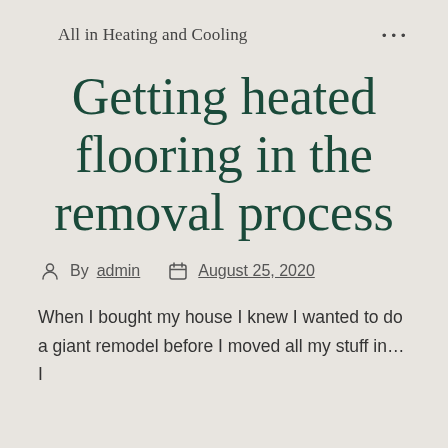All in Heating and Cooling   •••
Getting heated flooring in the removal process
By admin   August 25, 2020
When I bought my house I knew I wanted to do a giant remodel before I moved all my stuff in… I